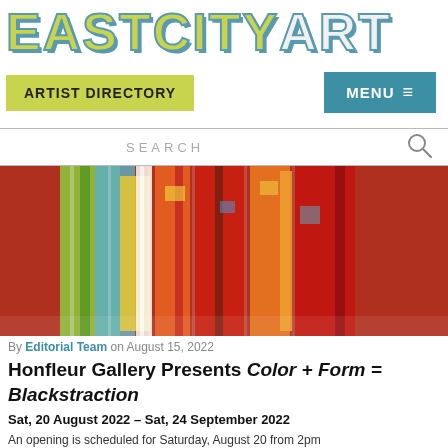EASTCITYART
ARTIST DIRECTORY
MENU ≡
SEARCH
[Figure (photo): Colorful fabric or textile work hanging in pleats, with abstract multicolored patterns in red, orange, yellow, green, and blue]
By Editorial Team on August 15, 2022
Honfleur Gallery Presents Color + Form = Blackstraction
Sat, 20 August 2022 - Sat, 24 September 2022
An opening is scheduled for Saturday, August 20 from 2pm